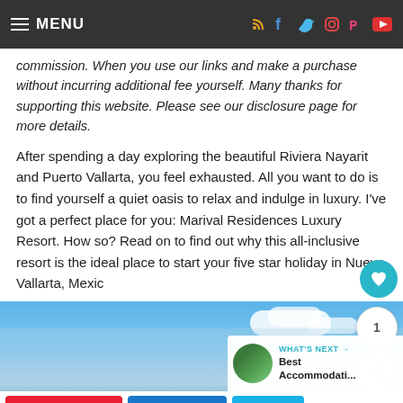MENU
commission. When you use our links and make a purchase without incurring additional fee yourself. Many thanks for supporting this website. Please see our disclosure page for more details.
After spending a day exploring the beautiful Riviera Nayarit and Puerto Vallarta, you feel exhausted. All you want to do is to find yourself a quiet oasis to relax and indulge in luxury. I've got a perfect place for you: Marival Residences Luxury Resort. How so? Read on to find out why this all-inclusive resort is the ideal place to start your five star holiday in Nuevo Vallarta, Mexico
[Figure (photo): Blue sky with white clouds, likely a resort or beach destination photo]
WHAT'S NEXT → Best Accommodati...
891  46  557 SHARES